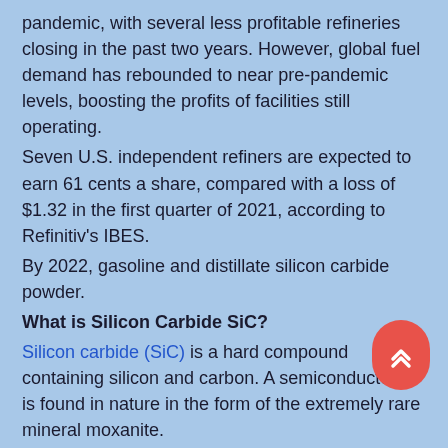pandemic, with several less profitable refineries closing in the past two years. However, global fuel demand has rebounded to near pre-pandemic levels, boosting the profits of facilities still operating.
Seven U.S. independent refiners are expected to earn 61 cents a share, compared with a loss of $1.32 in the first quarter of 2021, according to Refinitiv's IBES.
By 2022, gasoline and distillate silicon carbide powder.
What is Silicon Carbide SiC?
Silicon carbide (SiC) is a hard compound containing silicon and carbon. A semiconductor, it is found in nature in the form of the extremely rare mineral moxanite.
It has been mass-produced in powder and crystal form since 1893 for use as an abrasive.  Silicon carbide particles can be sinte together to form very hard ceramics that are widely used in applications requiring high durability, such as ceramic plates in car brakes, car clutches, and bulletproof vests. Large silicon carbide